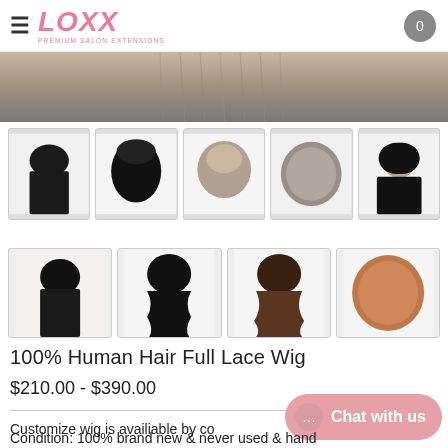LOXX Premium Salon Extensions — 0
[Figure (photo): Top portion of a wig product main image showing hair texture]
[Figure (photo): Row of 5 product thumbnails showing different wig views: back straight, lace front black, lace top grey, cap interior grey, full wig frontal view]
[Figure (photo): Row of 4 product thumbnails: straight black back, wavy black, wavy brown, tan cap interior]
100% Human Hair Full Lace Wig
$210.00 - $390.00
Customize wig is availiable by co...
Condition: 100% brand new & never used & hand